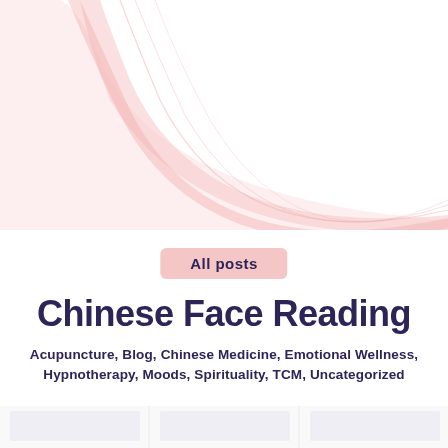[Figure (illustration): Decorative pink curved wave/swoosh shapes on white background, partially visible at top of page cropped]
All posts
Chinese Face Reading
Acupuncture, Blog, Chinese Medicine, Emotional Wellness, Hypnotherapy, Moods, Spirituality, TCM, Uncategorized
[Figure (screenshot): Bottom strip showing partial view of article thumbnails with numbers 88, 89 visible]